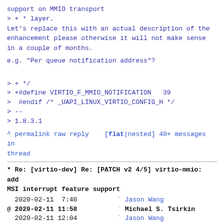support on MMIO transport
> + * layer.
Let's replace this with an actual description of the enhancement please
otherwise it will not make sense in a couple of months.
e.g. "Per queue notification address"?
> + */
> +#define VIRTIO_F_MMIO_NOTIFICATION   39
>  #endif /* _UAPI_LINUX_VIRTIO_CONFIG_H */
> --
> 1.8.3.1
^ permalink raw reply    [flat|nested] 40+ messages in thread
* Re: [virtio-dev] Re: [PATCH v2 4/5] virtio-mmio: add MSI interrupt feature support
  2020-02-11  7:40            ` Jason Wang
@ 2020-02-11 11:58            ` Michael S. Tsirkin
  2020-02-11 12:04              ` Jason Wang
       [not found]              ` <4c19292f-9d25-a859-3dde-6dd5a03fdf0b@linux.intel.com>
  1 sibling, 1 reply; 40+ messages in thread
From: Michael S. Tsirkin @ 2020-02-11 11:58 UTC